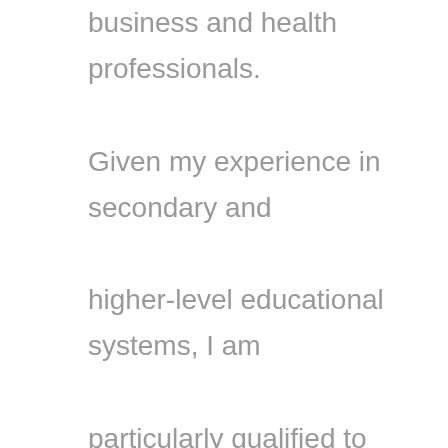business and health professionals. Given my experience in secondary and higher-level educational systems, I am particularly qualified to assess candidates passing official language certification exams (IELTS, TOEIC, TOEFL, OET). I am originally from Ireland, but have spent recent years working in various countries throughout Europe and North America. I am currently teaching freelance to enjoy the freedom of working with students of all ages, cultures and backgrounds. I am passionate about learning languages myself, and this motivates